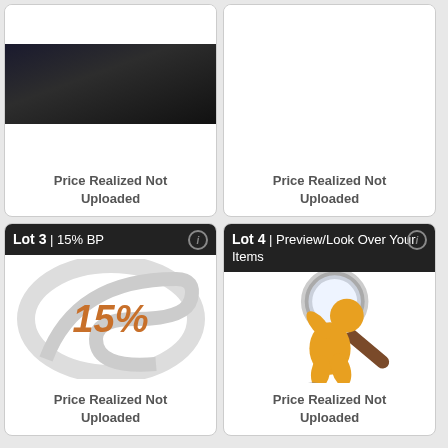[Figure (photo): Dark/shadowed photo partially visible at top of card]
Price Realized Not Uploaded
Price Realized Not Uploaded
Lot 3 | 15% BP
[Figure (illustration): 15% text with decorative swirl watermark logo in orange italic bold font on white background]
Price Realized Not Uploaded
Lot 4 | Preview/Look Over Your Items
[Figure (illustration): Orange 3D figure holding a magnifying glass, with decorative CW logo watermark below]
Price Realized Not Uploaded